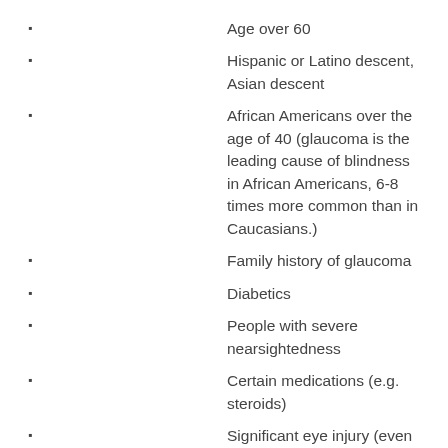Age over 60
Hispanic or Latino descent, Asian descent
African Americans over the age of 40 (glaucoma is the leading cause of blindness in African Americans, 6-8 times more common than in Caucasians.)
Family history of glaucoma
Diabetics
People with severe nearsightedness
Certain medications (e.g. steroids)
Significant eye injury (even if it occurred in childhood)
What is Glaucoma?
Glaucoma is actually a group of eye diseases that cause damage to the optic nerve due to an increase in pressure inside the eye or intraocular pressure (IOP). Treatments include medication or surgery that can regulate the IOP and slow down the progression of the disease to prevent further vision loss if detected early. The type of treatment depends on the type and the cause of the glaucoma.